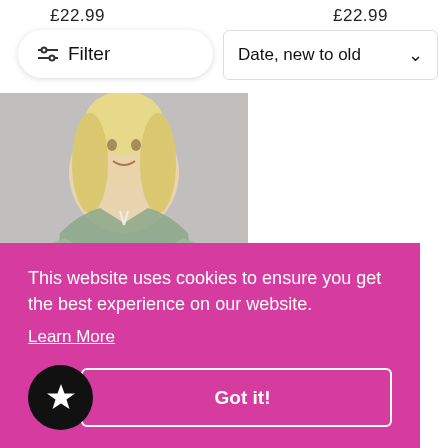£22.99
£22.99
Filter
Date, new to old
[Figure (photo): Blonde woman wearing a floral green/grey top with bell sleeves, smiling, on grey background]
This website uses cookies to ensure you get the best experience on our website.
Learn More
Got it!
£22.99